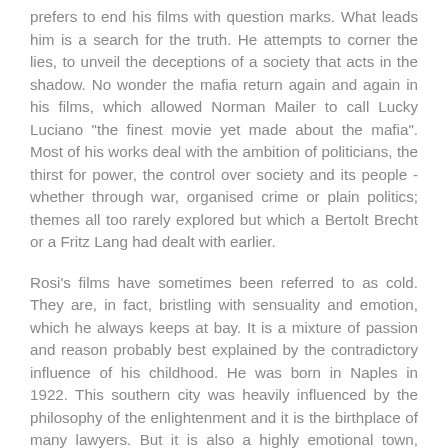prefers to end his films with question marks. What leads him is a search for the truth. He attempts to corner the lies, to unveil the deceptions of a society that acts in the shadow. No wonder the mafia return again and again in his films, which allowed Norman Mailer to call Lucky Luciano "the finest movie yet made about the mafia". Most of his works deal with the ambition of politicians, the thirst for power, the control over society and its people - whether through war, organised crime or plain politics; themes all too rarely explored but which a Bertolt Brecht or a Fritz Lang had dealt with earlier.
Rosi's films have sometimes been referred to as cold. They are, in fact, bristling with sensuality and emotion, which he always keeps at bay. It is a mixture of passion and reason probably best explained by the contradictory influence of his childhood. He was born in Naples in 1922. This southern city was heavily influenced by the philosophy of the enlightenment and it is the birthplace of many lawyers. But it is also a highly emotional town, sensuous and superstitious. One finds in Rosi a balance between a very concrete, physical sense of reality and an abstract, cerebral attitude